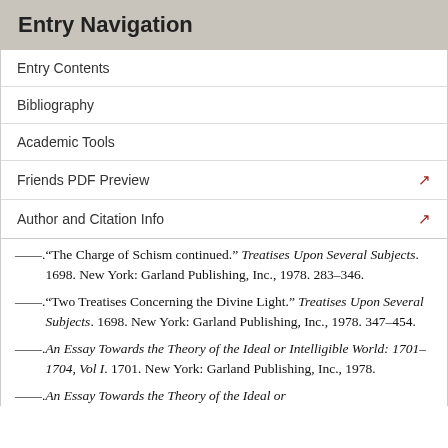Entry Navigation
Entry Contents
Bibliography
Academic Tools
Friends PDF Preview
Author and Citation Info
——. “The Charge of Schism continued.” Treatises Upon Several Subjects. 1698. New York: Garland Publishing, Inc., 1978. 283–346.
——. “Two Treatises Concerning the Divine Light.” Treatises Upon Several Subjects. 1698. New York: Garland Publishing, Inc., 1978. 347–454.
——. An Essay Towards the Theory of the Ideal or Intelligible World: 1701–1704, Vol I. 1701. New York: Garland Publishing, Inc., 1978.
——. An Essay Towards the Theory of the Ideal or